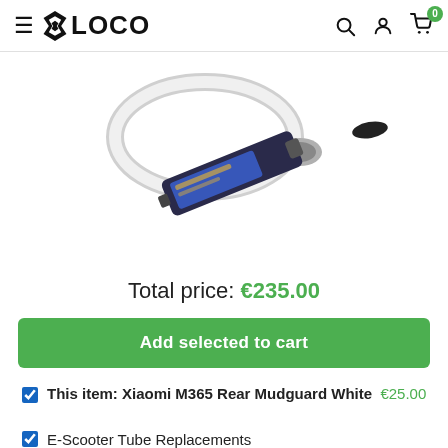LOCO — navigation header with hamburger menu, search, account, and cart (0 items)
[Figure (photo): Product images: white mudguard part at top and a replacement tube/battery pack component below it]
Total price: €235.00
Add selected to cart
This item: Xiaomi M365 Rear Mudguard White  €25.00
E-Scooter Tube Replacements